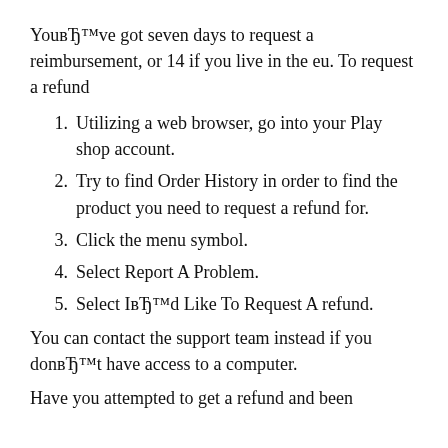YouвЂ™ve got seven days to request a reimbursement, or 14 if you live in the eu. To request a refund
1. Utilizing a web browser, go into your Play shop account.
2. Try to find Order History in order to find the product you need to request a refund for.
3. Click the menu symbol.
4. Select Report A Problem.
5. Select IвЂ™d Like To Request A refund.
You can contact the support team instead if you donвЂ™t have access to a computer.
Have you attempted to get a refund and been